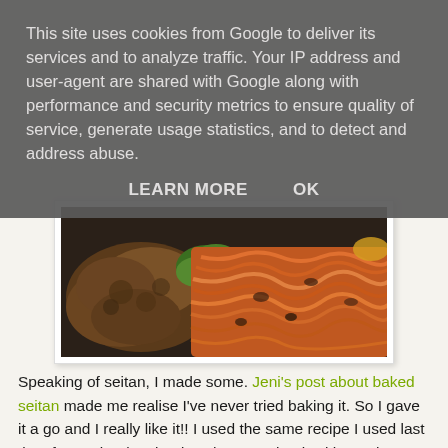This site uses cookies from Google to deliver its services and to analyze traffic. Your IP address and user-agent are shared with Google along with performance and security metrics to ensure quality of service, generate usage statistics, and to detect and address abuse.
LEARN MORE   OK
[Figure (photo): A plate of food showing shredded carrot salad alongside brown seitan patties and some leafy greens, served on a dark plate.]
Speaking of seitan, I made some. Jeni's post about baked seitan made me realise I've never tried baking it. So I gave it a go and I really like it!! I used the same recipe I used last time for patties (again, don't have my book with me, but I will get around to posting the recipe soon!), rolled it into a fat sausage and baked it in foil for 45 minutes at 180C. It was so good - I was having it on sandwiches all week last week.